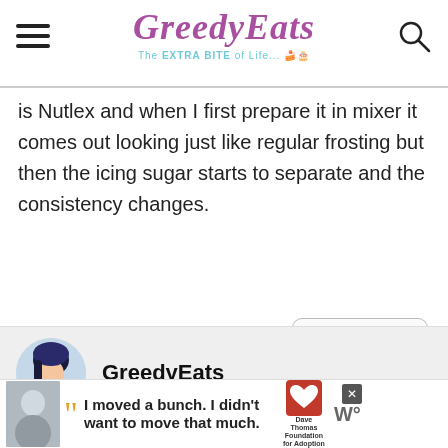GreedyEats — The EXTRA BITE of Life...
is Nutlex and when I first prepare it in mixer it comes out looking just like regular frosting but then the icing sugar starts to separate and the consistency changes.
REPLY
GreedyEats
March 10, 2018 at 10:06 pm
[Figure (screenshot): Advertisement banner: Dave Thomas Foundation for Adoption with quote 'I moved a bunch. I didn't want to move much.']